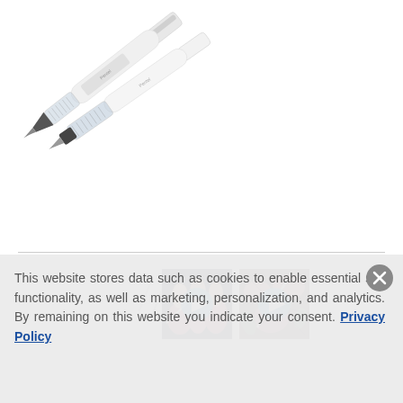[Figure (photo): Product photo of two white pen/brush tools (water brush pens) on white background, one with clear transparent ink chamber visible]
[Figure (photo): Two small video thumbnail images showing brush pens being used, each with a blue play button overlay. Left thumbnail shows pen on nail art, right thumbnail shows brush on floral surface.]
This website stores data such as cookies to enable essential site functionality, as well as marketing, personalization, and analytics. By remaining on this website you indicate your consent. Privacy Policy